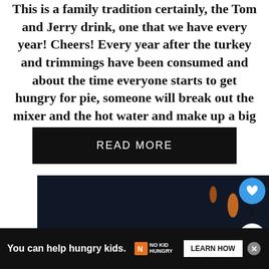This is a family tradition certainly, the Tom and Jerry drink, one that we have every year! Cheers! Every year after the turkey and trimmings have been consumed and about the time everyone starts to get hungry for pie, someone will break out the mixer and the hot water and make up a big …
[Figure (screenshot): READ MORE button — black rectangle with white uppercase text]
[Figure (photo): Dark-background cocktail photo with yellow and orange garnishes visible on a dark surface]
[Figure (infographic): Like button (blue circle with heart), count '1', share button on right sidebar]
WHAT'S NEXT → El Mayor Tequila Drink
[Figure (screenshot): Black ad bar at bottom: 'You can help hungry kids.' with No Kid Hungry logo and LEARN HOW button, close X button]